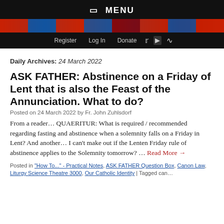☰ MENU
Register  Log In  Donate
Daily Archives: 24 March 2022
ASK FATHER: Abstinence on a Friday of Lent that is also the Feast of the Annunciation. What to do?
Posted on 24 March 2022 by Fr. John Zuhlsdorf
From a reader… QUAERITUR: What is required / recommended regarding fasting and abstinence when a solemnity falls on a Friday in Lent? And another… I can't make out if the Lenten Friday rule of abstinence applies to the Solemnity tomorrow? … Read More →
Posted in "How To..." - Practical Notes, ASK FATHER Question Box, Canon Law, Liturgy Science Theatre 3000, Our Catholic Identity | Tagged can...